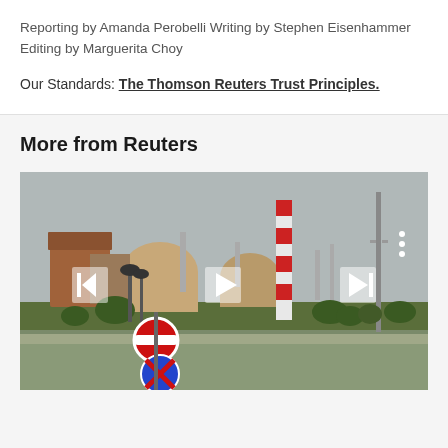Reporting by Amanda Perobelli Writing by Stephen Eisenhammer Editing by Marguerita Choy
Our Standards: The Thomson Reuters Trust Principles.
More from Reuters
[Figure (photo): Zaporizhzhia nuclear power plant panoramic view with red-and-white striped chimney, reactor domes, road signs including a no-entry sign and a no-parking sign, trees, and a tall communications tower. Navigation arrows (previous, play, next) overlaid on the image.]